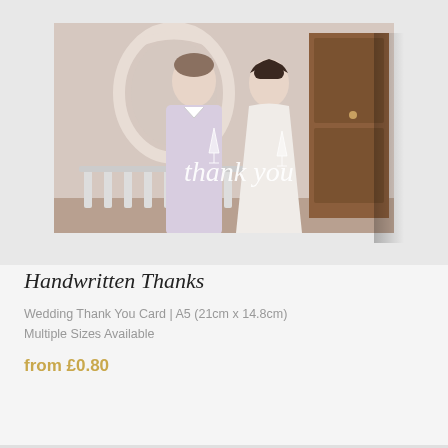[Figure (photo): Product mockup of a wedding thank you card showing a couple (groom in white shirt, bride in white dress) holding champagne glasses in front of a decorative mirror and wooden door. White script 'thank you' text overlaid on the photo. Card is shown as a folded card mockup with shadow.]
Handwritten Thanks
Wedding Thank You Card | A5 (21cm x 14.8cm)
Multiple Sizes Available
from £0.80